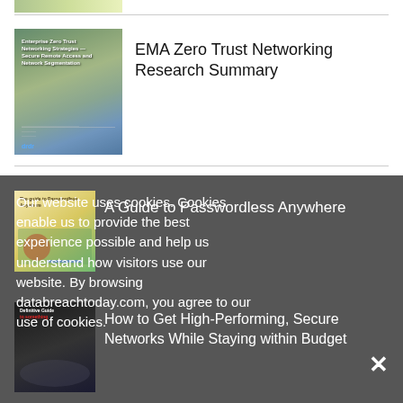[Figure (illustration): Partial image strip at top of page, cropped]
EMA Zero Trust Networking Research Summary
[Figure (illustration): Thumbnail image for EMA Zero Trust Networking with blue/green overlay and text, ordr logo at bottom]
Our website uses cookies. Cookies enable us to provide the best experience possible and help us understand how visitors use our website. By browsing databreachtoday.com, you agree to our use of cookies.
A Guide to Passwordless Anywhere
[Figure (illustration): Thumbnail for A Guide to Passwordless Anywhere with map/path illustration]
How to Get High-Performing, Secure Networks While Staying within Budget
[Figure (illustration): Thumbnail for Definitive Guide with dark background and red text]